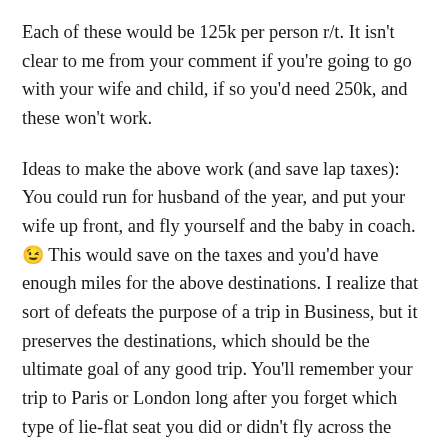Each of these would be 125k per person r/t. It isn't clear to me from your comment if you're going to go with your wife and child, if so you'd need 250k, and these won't work.
Ideas to make the above work (and save lap taxes): You could run for husband of the year, and put your wife up front, and fly yourself and the baby in coach. 😉 This would save on the taxes and you'd have enough miles for the above destinations. I realize that sort of defeats the purpose of a trip in Business, but it preserves the destinations, which should be the ultimate goal of any good trip. You'll remember your trip to Paris or London long after you forget which type of lie-flat seat you did or didn't fly across the pond in.